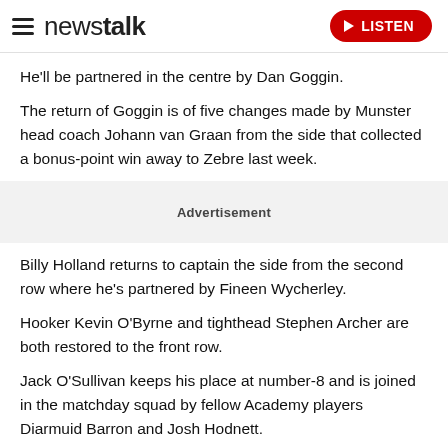newstalk | LISTEN
He'll be partnered in the centre by Dan Goggin.
The return of Goggin is of five changes made by Munster head coach Johann van Graan from the side that collected a bonus-point win away to Zebre last week.
Advertisement
Billy Holland returns to captain the side from the second row where he's partnered by Fineen Wycherley.
Hooker Kevin O'Byrne and tighthead Stephen Archer are both restored to the front row.
Jack O'Sullivan keeps his place at number-8 and is joined in the matchday squad by fellow Academy players Diarmuid Barron and Josh Hodnett.